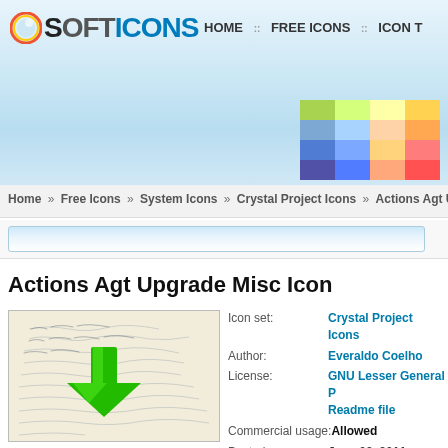SOFTICONS — HOME :: FREE ICONS :: ICON T
[Figure (screenshot): Softicons website header with logo, navigation links HOME, FREE ICONS, ICON T, and a colorful grid graphic]
Home » Free Icons » System Icons » Crystal Project Icons » Actions Agt Upgra
Actions Agt Upgrade Misc Icon
[Figure (illustration): Icon image: green download arrow over handwritten letter/document background]
| Field | Value |
| --- | --- |
| Icon set: | Crystal Project Icons |
| Author: | Everaldo Coelho |
| License: | GNU Lesser General P Readme file |
| Commercial usage: | Allowed |
| Posted: | June 03, 2011 |
Download Icon
Download as ICO file
Use as aim buddy icon